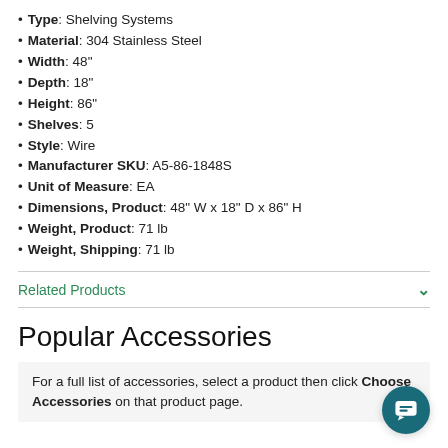Type: Shelving Systems
Material: 304 Stainless Steel
Width: 48"
Depth: 18"
Height: 86"
Shelves: 5
Style: Wire
Manufacturer SKU: A5-86-1848S
Unit of Measure: EA
Dimensions, Product: 48" W x 18" D x 86" H
Weight, Product: 71 lb
Weight, Shipping: 71 lb
Related Products
Popular Accessories
For a full list of accessories, select a product then click Choose Accessories on that product page.